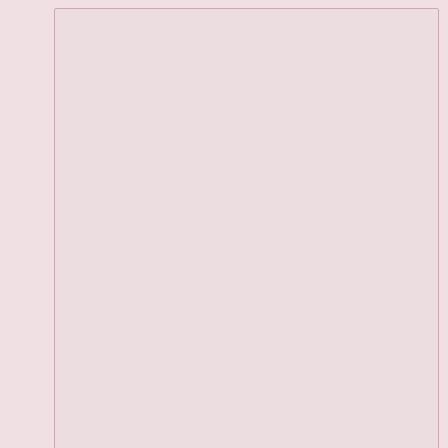[Figure (screenshot): A textarea form field with a pinkish-rose background color and a resize handle in the bottom-right corner.]
Name
[Figure (screenshot): A single-line text input field with pinkish-rose background for entering a name.]
Privacy & Cookies: This site uses cookies. By continuing to use this website, you agree to their use.
To find out more, including how to control cookies, see here: Our Cookie Policy
Close and accept